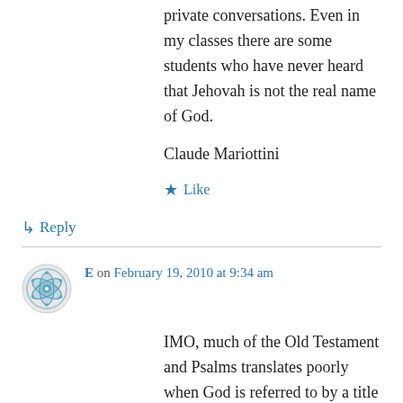private conversations. Even in my classes there are some students who have never heard that Jehovah is not the real name of God.
Claude Mariottini
Like
Reply
E on February 19, 2010 at 9:34 am
IMO, much of the Old Testament and Psalms translates poorly when God is referred to by a title (i.e., "the Lord" or "the LORD") instead of by His proper name YHWH, as the Hebrew Scriptures in fact read. Hence, I think it is better to translate and read the word YHWH with the word "God" (or perhaps "GOD"), except where